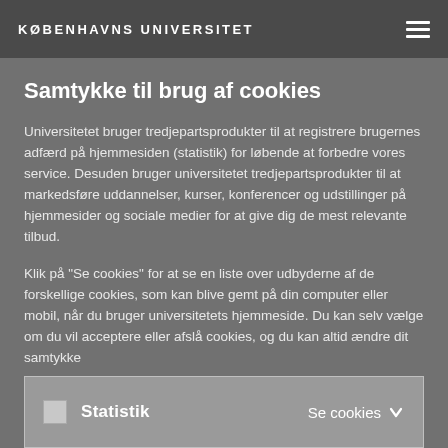KØBENHAVNS UNIVERSITET
Samtykke til brug af cookies
Universitetet bruger tredjepartsprodukter til at registrere brugernes adfærd på hjemmesiden (statistik) for løbende at forbedre vores service. Desuden bruger universitetet tredjepartsprodukter til at markedsføre uddannelser, kurser, konferencer og udstillinger på hjemmesider og sociale medier for at give dig de mest relevante tilbud.
Klik på "Se cookies" for at se en liste over udbyderne af de forskellige cookies, som kan blive gemt på din computer eller mobil, når du bruger universitetets hjemmeside. Du kan selv vælge om du vil acceptere eller afslå cookies, og du kan altid ændre dit samtykke
Statistik
Se cookies